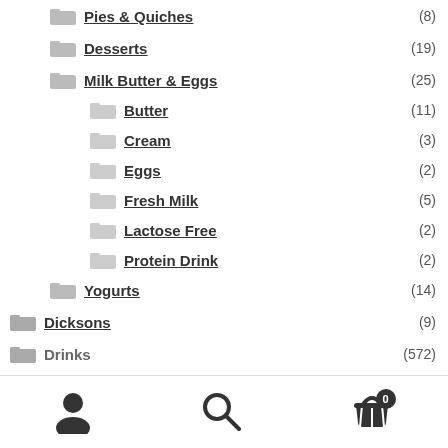Pies & Quiches (8)
Desserts (19)
Milk Butter & Eggs (25)
Butter (11)
Cream (3)
Eggs (2)
Fresh Milk (5)
Lactose Free (2)
Protein Drink (2)
Yogurts (14)
Dicksons (9)
Drinks (572)